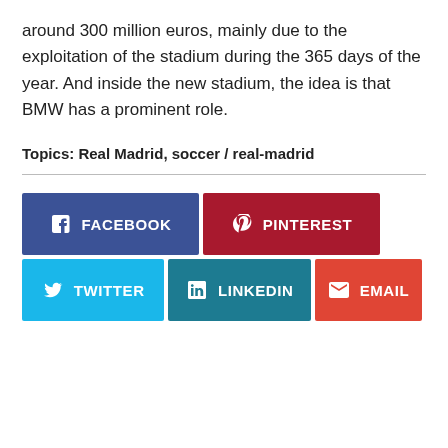around 300 million euros, mainly due to the exploitation of the stadium during the 365 days of the year. And inside the new stadium, the idea is that BMW has a prominent role.
Topics: Real Madrid, soccer / real-madrid
[Figure (infographic): Social share buttons: Facebook, Pinterest, Twitter, LinkedIn, Email]